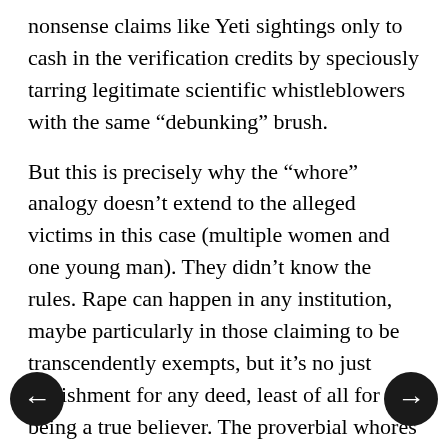nonsense claims like Yeti sightings only to cash in the verification credits by speciously tarring legitimate scientific whistleblowers with the same “debunking” brush.
But this is precisely why the “whore” analogy doesn’t extend to the alleged victims in this case (multiple women and one young man). They didn’t know the rules. Rape can happen in any institution, maybe particularly in those claiming to be transcendently exempts, but it’s no just punishment for any deed, least of all for being a true believer. The proverbial whores are higher up the front group food chain and would understand that an organization which specializes in industry cover up and attacks on whistleblowers would probably be pretty adept at internal cover up